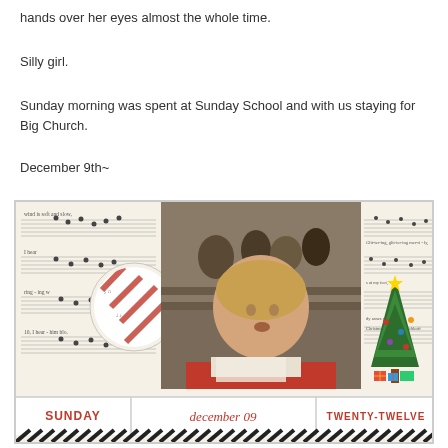hands over her eyes almost the whole time.
Silly girl.
Sunday morning was spent at Sunday School and with us staying for Big Church.
December 9th~
[Figure (photo): Scrapbook collage page featuring a young toddler girl in a red outfit at church, surrounded by sheet music background images, a circular ornament with striped candy cane design, a Christmas tree illustration on the right, and a bottom label bar reading SUNDAY | december 09 | TWENTY-TWELVE with black and white diagonal stripes at the very bottom.]